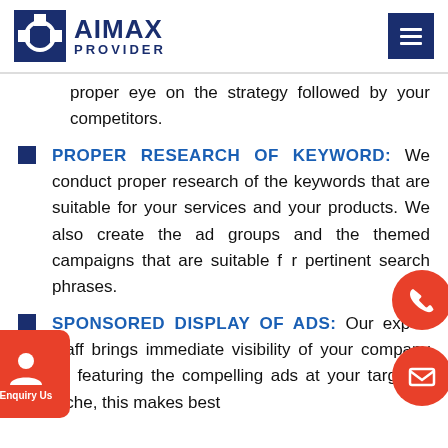AIMAX PROVIDER
proper eye on the strategy followed by your competitors.
PROPER RESEARCH OF KEYWORD: We conduct proper research of the keywords that are suitable for your services and your products. We also create the ad groups and the themed campaigns that are suitable for pertinent search phrases.
SPONSORED DISPLAY OF ADS: Our expert staff brings immediate visibility of your company by featuring the compelling ads at your targeted niche, this makes best